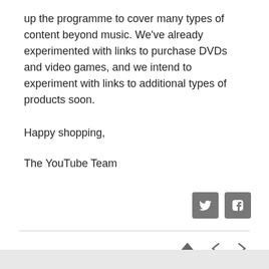up the programme to cover many types of content beyond music. We've already experimented with links to purchase DVDs and video games, and we intend to experiment with links to additional types of products soon.
Happy shopping,
The YouTube Team
[Figure (other): Twitter and Facebook social media icon buttons]
[Figure (other): Navigation icons: home, back arrow, forward arrow]